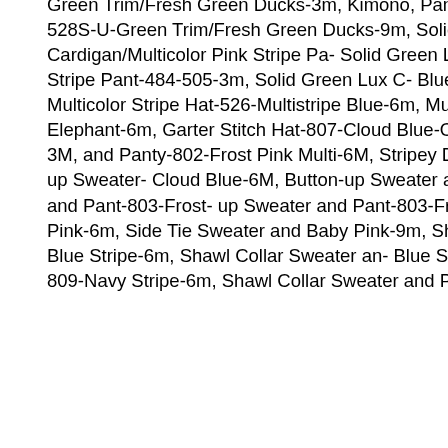Green Trim/Fresh Green Ducks-3m, Kimono, Pant, & Hat Set-528S-U-Green Trim/Fresh Green Ducks-6m, Kimono, Pant, & Hat Set-528S-U-Green Trim/Fresh Green Ducks-9m, Solid Green Lux Cardigan/Multicolor Pink Stripe Pant-484-505-3m, Solid Green Lux Cardigan/Multicolor Pink Stripe Pant-484-505-6m, Solid Green Lux Cardigan/Multicolor Pink Stripe Pant-484-505-9m, Solid Green Lux Cardigan/Multicolor Blue Stripe Pant-484-505-3m, Solid Green Lux Cardigan/Multicolor Blue Stripe Pant-484-505-6m, Solid Green Lux Cardigan/Multicolor Blue Stripe Pant-484-505-9m, Multicolor Stripe Hat-526-Multistripe Blue-6m, Multicolor Stripe Hat-526-Multistripe Blue-9m, Footie Coverall & Hat Set-531S-B-White with Blue Elephant-6m, Garter Stitch Hat-807-Cloud Blue-One Size, Garter Stitch Hat-807-Frost Pink-One Size, Stripey Dress and Panty-802-Frost Pink Multi-3M, Stripey Dress and Panty-802-Frost Pink Multi-6M, Stripey Dress and Panty-802-Frost Pink Multi-9M, Button-up Sweater and Pant-803-Cloud Blue-3M, Button-up Sweater and Pant-803-Cloud Blue-6M, Button-up Sweater and Pant-803-Cloud Blue-9M, Button-up Sweater and Pant-803-Frost Pink-3M, Button-up Sweater and Pant-803-Frost Pink-6M, Button-up Sweater and Pant-803-Frost Pink-9M, Side Tie Sweater and Pant-822-Baby Pink-3m, Side Tie Sweater and Pant-822-Baby Pink-6m, Side Tie Sweater and Pant-822-Baby Pink-9m, Shawl Collar Sweater and Pant-809-Baby Blue Stripe-3m, Shawl Collar Sweater and Pant-809-Baby Blue Stripe-6m, Shawl Collar Sweater and Pant-809-Baby Blue Stripe-9m, Shawl Collar Sweater and Pant-809-Navy Stripe-3m, Shawl Collar Sweater and Pant-809-Navy Stripe-6m, Shawl Collar Sweater and Pant-809-Navy Stripe-9m, Metro Hoodie Cardigan and Pant-808-Baby Pink Stripe-3m